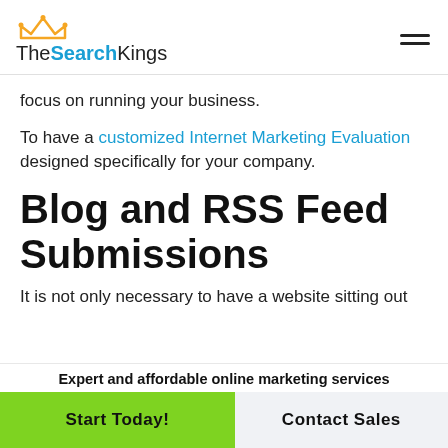TheSearchKings
focus on running your business.
To have a customized Internet Marketing Evaluation designed specifically for your company.
Blog and RSS Feed Submissions
It is not only necessary to have a website sitting out
Expert and affordable online marketing services
Start Today!
Contact Sales